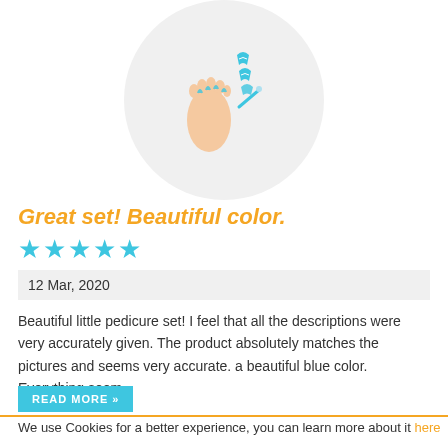[Figure (photo): Product image of a pedicure set with toe separators and tools, shown in a circular frame with light gray background]
Great set! Beautiful color.
★★★★★
12 Mar, 2020
Beautiful little pedicure set! I feel that all the descriptions were very accurately given. The product absolutely matches the pictures and seems very accurate. a beautiful blue color. Everything seem...
READ MORE »
We use Cookies for a better experience, you can learn more about it here
GOT IT